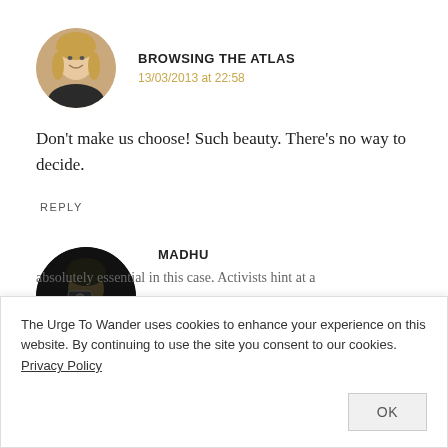[Figure (photo): Circular avatar photo of a woman with long blonde hair, smiling]
BROWSING THE ATLAS
13/03/2013 at 22:58
Don't make us choose! Such beauty. There's no way to decide.
REPLY
[Figure (photo): Circular avatar photo of a person with dark background, appears to be holding a camera]
MADHU
The Urge To Wander uses cookies to enhance your experience on this website. By continuing to use the site you consent to our cookies. Privacy Policy
OK
absolutely essential in this case. Activists hint at a